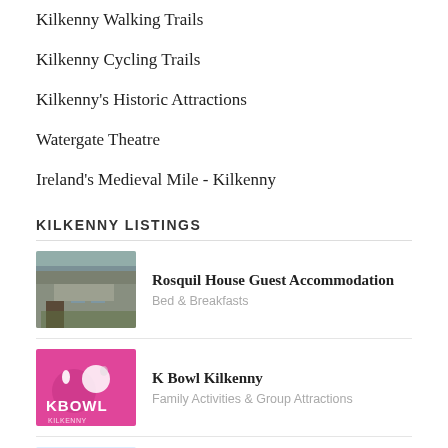Kilkenny Walking Trails
Kilkenny Cycling Trails
Kilkenny's Historic Attractions
Watergate Theatre
Ireland's Medieval Mile - Kilkenny
KILKENNY LISTINGS
[Figure (photo): Rosquil House Guest Accommodation - stone country house with green ivy]
Rosquil House Guest Accommodation
Bed & Breakfasts
[Figure (logo): K Bowl Kilkenny logo - pink background with bowling ball and pin]
K Bowl Kilkenny
Family Activities & Group Attractions
[Figure (photo): Kilkenny Hypnosis - partial image visible]
Kilkenny Hypnosis